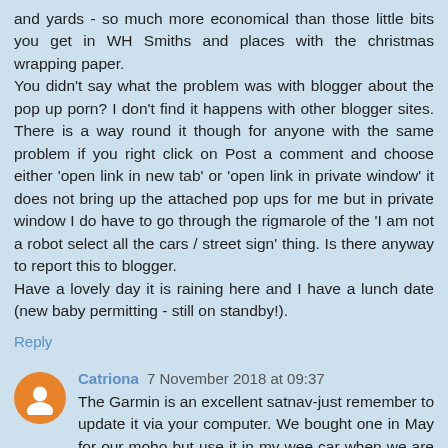and yards - so much more economical than those little bits you get in WH Smiths and places with the christmas wrapping paper.
You didn't say what the problem was with blogger about the pop up porn? I don't find it happens with other blogger sites. There is a way round it though for anyone with the same problem if you right click on Post a comment and choose either 'open link in new tab' or 'open link in private window' it does not bring up the attached pop ups for me but in private window I do have to go through the rigmarole of the 'I am not a robot select all the cars / street sign' thing. Is there anyway to report this to blogger.
Have a lovely day it is raining here and I have a lunch date (new baby permitting - still on standby!).
Reply
Catriona 7 November 2018 at 09:37
The Garmin is an excellent satnav-just remember to update it via your computer. We bought one in May for our moho but use it in my wee car when we are going somewhere